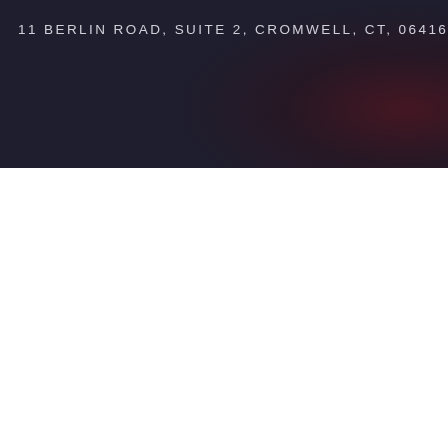11 BERLIN ROAD, SUITE 2, CROMWELL, CT, 06416